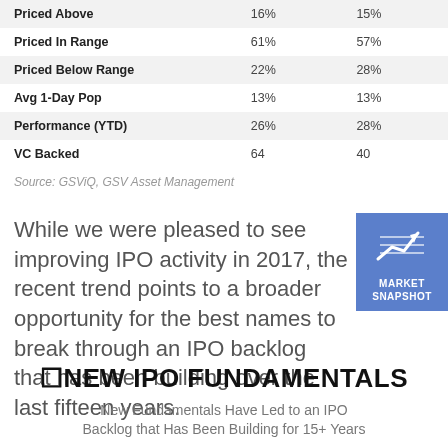|  |  |  |
| --- | --- | --- |
| Priced Above | 16% | 15% |
| Priced In Range | 61% | 57% |
| Priced Below Range | 22% | 28% |
| Avg 1-Day Pop | 13% | 13% |
| Performance (YTD) | 26% | 28% |
| VC Backed | 64 | 40 |
Source: GSViQ, GSV Asset Management
While we were pleased to see improving IPO activity in 2017, the recent trend points to a broader opportunity for the best names to break through an IPO backlog that has been building over the last fifteen years.
[Figure (infographic): Market Snapshot badge with upward trending arrow chart icon on blue background]
🔲NEW IPO FUNDAMENTALS
New Fundamentals Have Led to an IPO Backlog that Has Been Building for 15+ Years